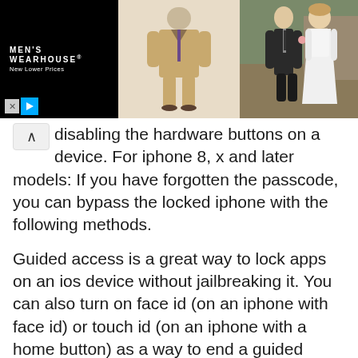[Figure (screenshot): Men's Wearhouse advertisement banner showing brand name on black background, a man in a tan suit in the center, and a couple in formal wedding attire on the right. Ad controls (X and play button) visible at bottom left.]
disabling the hardware buttons on a device. For iphone 8, x and later models: If you have forgotten the passcode, you can bypass the locked iphone with the following methods.
Guided access is a great way to lock apps on an ios device without jailbreaking it. You can also turn on face id (on an iphone with face id) or touch id (on an iphone with a home button) as a way to end a guided access session. With iphone guided access, you can limit users to just one specific app of.